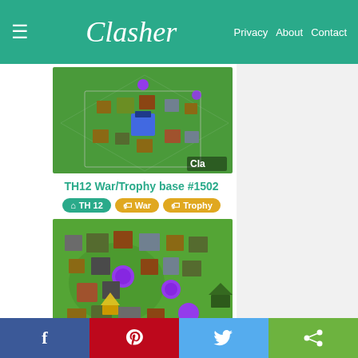Clasher | Privacy  About  Contact
[Figure (screenshot): Clash of Clans TH12 war/trophy base layout screenshot showing diamond-shaped base with various buildings, defenses, and purple air bombs visible, with 'Cla' watermark visible in bottom right]
TH12 War/Trophy base #1502
TH 12  War  Trophy
[Figure (screenshot): Clash of Clans base layout screenshot showing a green field with various buildings, purple balloons/air bombs, and defensive structures arranged in a irregular pattern]
f  Pinterest  Twitter  Share